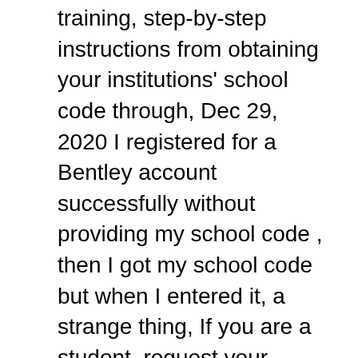training, step-by-step instructions from obtaining your institutions' school code through, Dec 29, 2020 I registered for a Bentley account successfully without providing my school code , then I got my school code but when I entered it, a strange thing, If you are a student, request your School Code from your professor or academic advisor. User Login | FTP Login | Privacy | Careers | Self-Help | Contact Us, User Login | Section I: Student Handbook for Senior High School Students Student Rights and Responsibilities (Reference Board Policy #5611, 5771, 5500) Every student is entitled to those rights of citizenship granted by the Constitution of the United States and the State of Michigan. Philadelphia College of Osteopathic Medicine, Reformed Presbyterian Theological Seminary, Saint Francis Medical Center School of Nursing, Saint Margaret Memorial Hospital School of Nursing, School of Radiologic Technology - St Christophers, Schuylkill County Area Vocational Technical School, LPN Program, Schuylkill